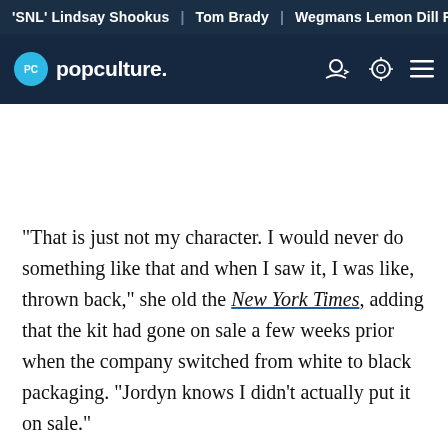'SNL' Lindsay Shookus | Tom Brady | Wegmans Lemon Dill F
[Figure (logo): Popculture.com logo with navigation icons (user account, dark mode toggle, hamburger menu) on dark navy background]
"That is just not my character. I would never do something like that and when I saw it, I was like, thrown back," she old the New York Times, adding that the kit had gone on sale a few weeks prior when the company switched from white to black packaging. "Jordyn knows I didn't actually put it on sale."
That interview also saw Jenner reflect on her recently